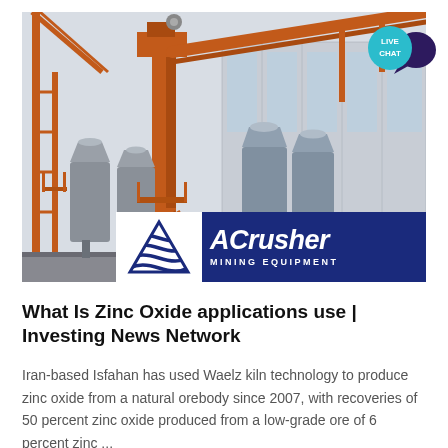[Figure (photo): Industrial mining/processing facility with large orange steel structure cranes and conveyor belts, grey cylindrical hoppers/silos, and a metal warehouse building in the background. ACrusher Mining Equipment logo overlay at bottom of image.]
What Is Zinc Oxide applications use | Investing News Network
Iran-based Isfahan has used Waelz kiln technology to produce zinc oxide from a natural orebody since 2007, with recoveries of 50 percent zinc oxide produced from a low-grade ore of 6 percent zinc ...